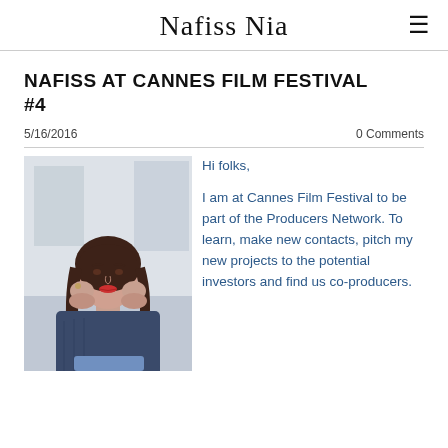Nafiss Nia
NAFISS AT CANNES FILM FESTIVAL #4
5/16/2016
0 Comments
[Figure (photo): Photo of Nafiss Nia, a woman with long dark hair, wearing a blue knit sweater, resting her chin on her hands, smiling at the camera. Background appears to be a light-colored building exterior.]
Hi folks,

I am at Cannes Film Festival to be part of the Producers Network. To learn, make new contacts, pitch my new projects to the potential investors and find us co-producers.